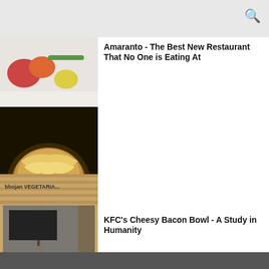[Figure (photo): Photo of a food dish with colorful vegetables on a white plate, partially visible at top]
Amaranto - The Best New Restaurant That No One is Eating At
[Figure (photo): Photo of KFC's Cheesy Bacon Bowl - a bowl filled with cheesy food on a dark background]
KFC's Cheesy Bacon Bowl - A Study in Humanity
[Figure (photo): Photo of Bhojan Vegetarian restaurant storefront with wood paneling and glass doors]
Bhojan Vegetarian Indian Restaurant